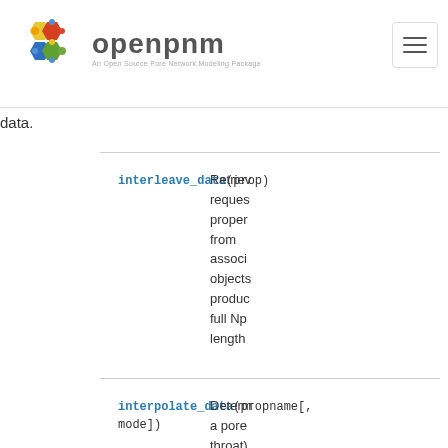openpnm — An Open Source Pore Network Modeling Package
data.
interleave_data(prop)
Retrieves the requested property from associated objects producing a full Np-length array.
interpolate_data(propname[, mode])
Determines a pore (or throat) property...